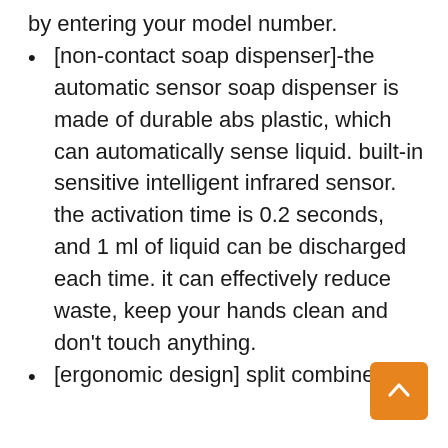by entering your model number.
[non-contact soap dispenser]-the automatic sensor soap dispenser is made of durable abs plastic, which can automatically sense liquid. built-in sensitive intelligent infrared sensor. the activation time is 0.2 seconds, and 1 ml of liquid can be discharged each time. it can effectively reduce waste, keep your hands clean and don’t touch anything.
[ergonomic design] split combined